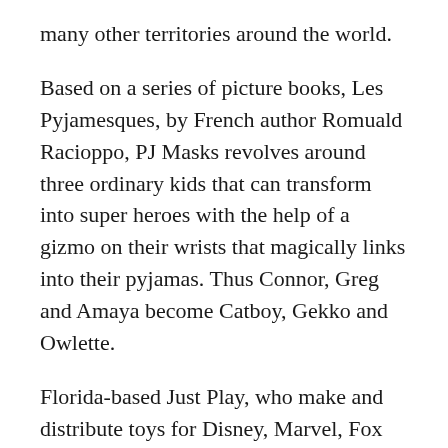many other territories around the world.
Based on a series of picture books, Les Pyjamesques, by French author Romuald Racioppo, PJ Masks revolves around three ordinary kids that can transform into super heroes with the help of a gizmo on their wrists that magically links into their pyjamas. Thus Connor, Greg and Amaya become Catboy, Gekko and Owlette.
Florida-based Just Play, who make and distribute toys for Disney, Marvel, Fox and Nickelodeon amongst others, are the new master toy partner. Just Play are set to release a range of action figures, playsets, vehicles and